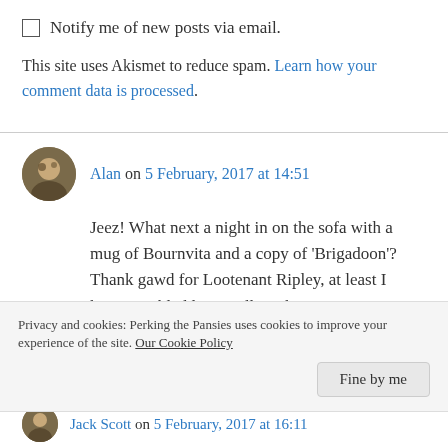Notify me of new posts via email.
This site uses Akismet to reduce spam. Learn how your comment data is processed.
Alan on 5 February, 2017 at 14:51
Jeez! What next a night in on the sofa with a mug of Bournvita and a copy of ‘Brigadoon’? Thank gawd for Lootenant Ripley, at least I know my bladder is still working!
Like
Privacy and cookies: Perking the Pansies uses cookies to improve your experience of the site. Our Cookie Policy
Fine by me
Jack Scott on 5 February, 2017 at 16:11